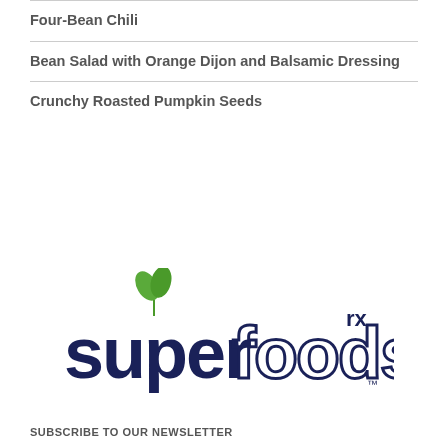Four-Bean Chili
Bean Salad with Orange Dijon and Balsamic Dressing
Crunchy Roasted Pumpkin Seeds
[Figure (logo): SuperFoods Rx logo — 'superfoods' in dark navy lowercase with a stylized 'f' outlined, two green leaves above the 'u' in 'super', and 'rx' in small caps upper right, with 'TM' mark lower right]
SUBSCRIBE TO OUR NEWSLETTER